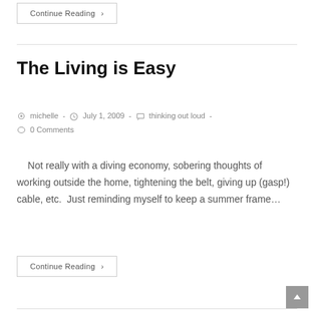Continue Reading ›
The Living is Easy
michelle · July 1, 2009 · thinking out loud · 0 Comments
Not really with a diving economy, sobering thoughts of working outside the home, tightening the belt, giving up (gasp!) cable, etc.  Just reminding myself to keep a summer frame…
Continue Reading ›